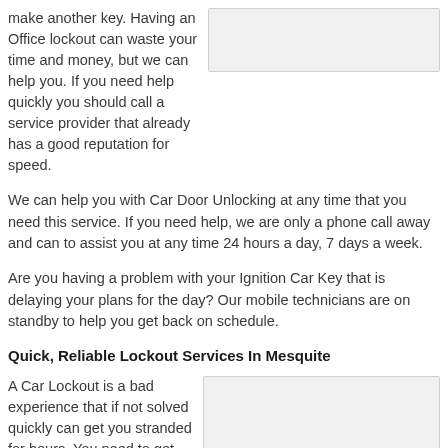make another key. Having an Office lockout can waste your time and money, but we can help you. If you need help quickly you should call a service provider that already has a good reputation for speed.
[Figure (photo): Placeholder image box at top right]
We can help you with Car Door Unlocking at any time that you need this service. If you need help, we are only a phone call away and can to assist you at any time 24 hours a day, 7 days a week.
Are you having a problem with your Ignition Car Key that is delaying your plans for the day? Our mobile technicians are on standby to help you get back on schedule.
Quick, Reliable Lockout Services In Mesquite
A Car Lockout is a bad experience that if not solved quickly can get you stranded for hours. You need to get places and rely on your vehicle. Call
[Figure (photo): Placeholder image box at bottom right]